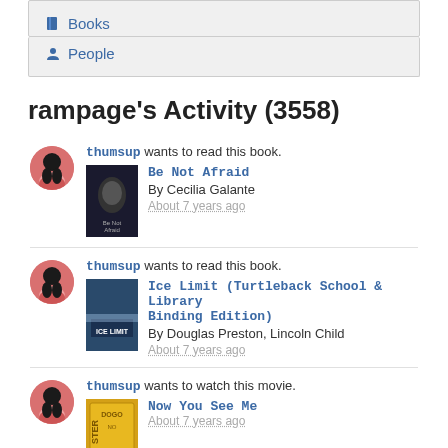Books
People
rampage's Activity (3558)
thumsup wants to read this book. Be Not Afraid By Cecilia Galante About 7 years ago
thumsup wants to read this book. Ice Limit (Turtleback School & Library Binding Edition) By Douglas Preston, Lincoln Child About 7 years ago
thumsup wants to watch this movie. Now You See Me About 7 years ago